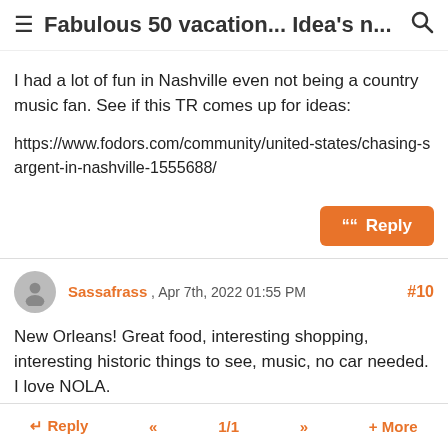≡ Fabulous 50 vacation... Idea's n... 🔍
I had a lot of fun in Nashville even not being a country music fan. See if this TR comes up for ideas:
https://www.fodors.com/community/united-states/chasing-sargent-in-nashville-1555688/
Sassafrass , Apr 7th, 2022 01:55 PM #10
New Orleans! Great food, interesting shopping, interesting historic things to see, music, no car needed. I love NOLA.
I have not been to San Antonio, but saw a Travel show
↩ Reply  «  1/1  »  + More